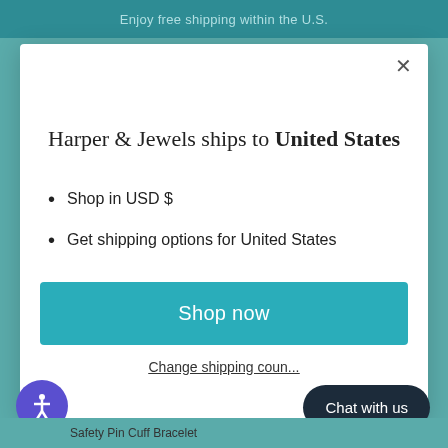Enjoy free shipping within the U.S.
Harper & Jewels ships to United States
Shop in USD $
Get shipping options for United States
Shop now
Change shipping country
Chat with us
Safety Pin Cuff Bracelet